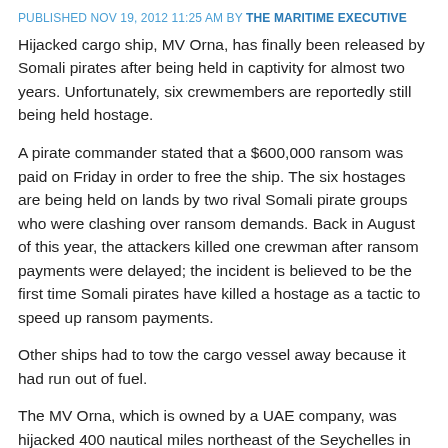PUBLISHED NOV 19, 2012 11:25 AM BY THE MARITIME EXECUTIVE
Hijacked cargo ship, MV Orna, has finally been released by Somali pirates after being held in captivity for almost two years. Unfortunately, six crewmembers are reportedly still being held hostage.
A pirate commander stated that a $600,000 ransom was paid on Friday in order to free the ship. The six hostages are being held on lands by two rival Somali pirate groups who were clashing over ransom demands. Back in August of this year, the attackers killed one crewman after ransom payments were delayed; the incident is believed to be the first time Somali pirates have killed a hostage as a tactic to speed up ransom payments.
Other ships had to tow the cargo vessel away because it had run out of fuel.
The MV Orna, which is owned by a UAE company, was hijacked 400 nautical miles northeast of the Seychelles in December 2010. Only 13 of the 19 crewmembers aboard the...